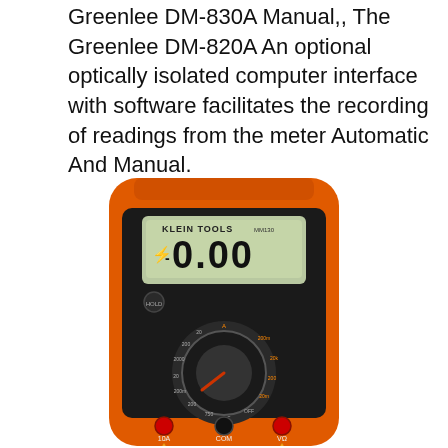Greenlee DM-830A Manual,, The Greenlee DM-820A An optional optically isolated computer interface with software facilitates the recording of readings from the meter Automatic And Manual.
[Figure (photo): Photo of a Klein Tools digital multimeter with orange and black casing. The LCD display shows 0.00. The meter has a rotary selector dial and three input ports labeled 10A, COM, and VΩ/mA. The brand name KLEIN TOOLS is visible on the front.]